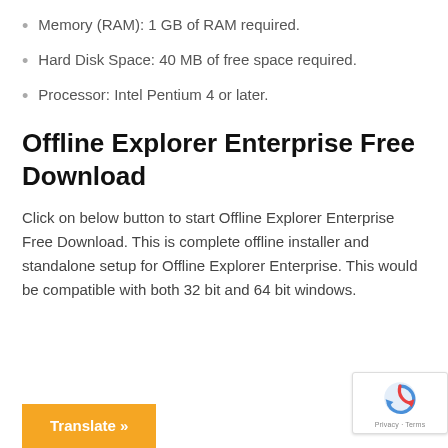Memory (RAM): 1 GB of RAM required.
Hard Disk Space: 40 MB of free space required.
Processor: Intel Pentium 4 or later.
Offline Explorer Enterprise Free Download
Click on below button to start Offline Explorer Enterprise Free Download. This is complete offline installer and standalone setup for Offline Explorer Enterprise. This would be compatible with both 32 bit and 64 bit windows.